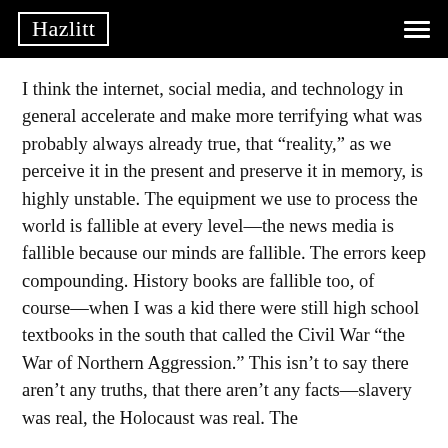Hazlitt
I think the internet, social media, and technology in general accelerate and make more terrifying what was probably always already true, that “reality,” as we perceive it in the present and preserve it in memory, is highly unstable. The equipment we use to process the world is fallible at every level—the news media is fallible because our minds are fallible. The errors keep compounding. History books are fallible too, of course—when I was a kid there were still high school textbooks in the south that called the Civil War “the War of Northern Aggression.” This isn’t to say there aren’t any truths, that there aren’t any facts—slavery was real, the Holocaust was real. The